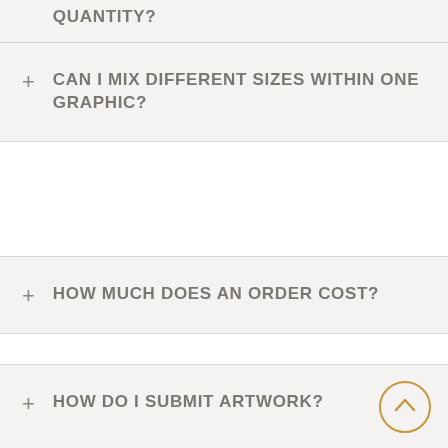QUANTITY?
CAN I MIX DIFFERENT SIZES WITHIN ONE GRAPHIC?
HOW MUCH DOES AN ORDER COST?
HOW DO I SUBMIT ARTWORK?
WHAT ARE YOUR SHIPPING POLICIES?